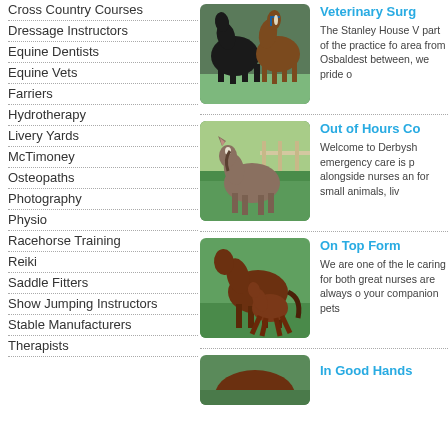Cross Country Courses
Dressage Instructors
Equine Dentists
Equine Vets
Farriers
Hydrotherapy
Livery Yards
McTimoney
Osteopaths
Photography
Physio
Racehorse Training
Reiki
Saddle Fitters
Show Jumping Instructors
Stable Manufacturers
Therapists
[Figure (photo): Two horses grazing close together, one dark and one brown with halter]
Veterinary Surg
The Stanley House V part of the practice fo area from Osbaldest between, we pride o
[Figure (photo): A small grey/brown pony standing in a green paddock with wooden fence behind]
Out of Hours Co
Welcome to Derbysh emergency care is p alongside nurses an for small animals, liv
[Figure (photo): A brown mare and foal trotting together in a green field]
On Top Form
We are one of the le caring for both great nurses are always o your companion pets
[Figure (photo): Horses in a field, partially visible at bottom]
In Good Hands